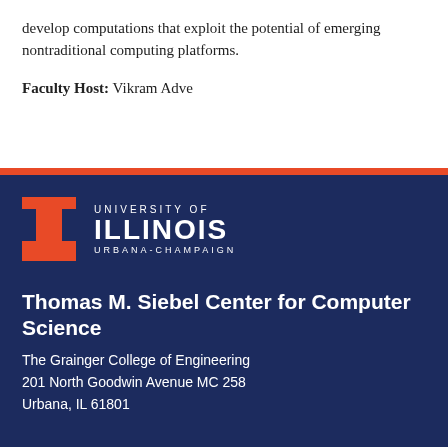develop computations that exploit the potential of emerging nontraditional computing platforms.
Faculty Host: Vikram Adve
[Figure (logo): University of Illinois Urbana-Champaign logo with Block I and text]
Thomas M. Siebel Center for Computer Science
The Grainger College of Engineering
201 North Goodwin Avenue MC 258
Urbana, IL 61801